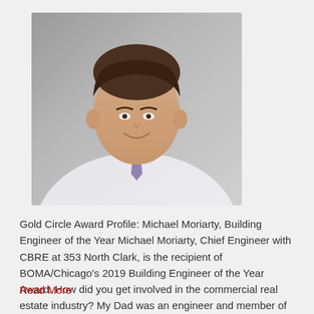[Figure (photo): Professional headshot of Michael Moriarty, a man in a white striped dress shirt and purple tie, smiling, against a gray background.]
Gold Circle Award Profile: Michael Moriarty, Building Engineer of the Year Michael Moriarty, Chief Engineer with CBRE at 353 North Clark, is the recipient of BOMA/Chicago's 2019 Building Engineer of the Year Award. How did you get involved in the commercial real estate industry? My Dad was an engineer and member of Local 399. He encouraged…
Read More